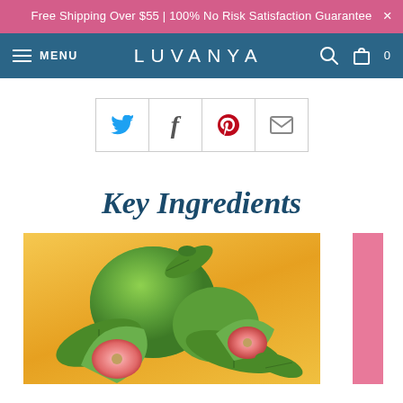Free Shipping Over $55 | 100% No Risk Satisfaction Guarantee
LUVANYA
[Figure (other): Social sharing icons row: Twitter (blue bird), Facebook (f), Pinterest (P), Email (envelope)]
Key Ingredients
[Figure (photo): Photo of fresh guava fruits — whole green guavas and cut pink-fleshed guava slices with green leaves, on a warm golden/yellow background, with a pink panel visible on the right edge]